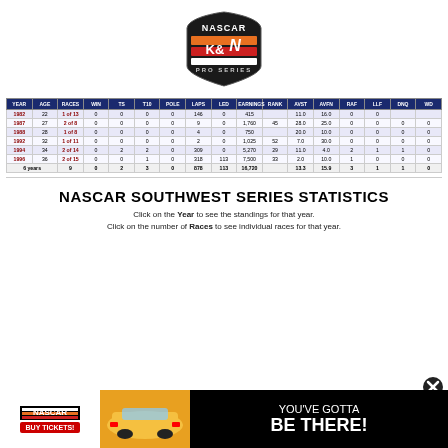[Figure (logo): NASCAR K&N Pro Series logo — orange/red/white striped shield with NASCAR text on top and K&N logo in center, PRO SERIES text below]
| YEAR | AGE | RACES | WIN | TS | T10 | POLE | LAPS | LED | EARNINGS | RANK | AVST | AVFN | RAF | LLF | DNQ | WD |
| --- | --- | --- | --- | --- | --- | --- | --- | --- | --- | --- | --- | --- | --- | --- | --- | --- |
| 1982 | 22 | 1 of 13 | 0 | 0 | 0 | 0 | 146 | 0 | 415 |  | 11.0 | 16.0 | 0 | 0 |  |  |
| 1987 | 27 | 2 of 8 | 0 | 0 | 0 | 0 | 9 | 0 | 1,760 | 45 | 28.0 | 25.0 | 0 | 0 | 0 | 0 |
| 1988 | 28 | 1 of 8 | 0 | 0 | 0 | 0 | 4 | 0 | 750 |  | 20.0 | 10.0 | 0 | 0 | 0 | 0 |
| 1992 | 32 | 1 of 11 | 0 | 0 | 0 | 0 | 2 | 0 | 1,025 | 52 | 7.0 | 30.0 | 0 | 0 | 0 | 0 |
| 1994 | 34 | 2 of 14 | 0 | 2 | 2 | 0 | 309 | 0 | 5,270 | 29 | 11.0 | 4.0 | 2 | 1 | 1 | 0 |
| 1996 | 36 | 2 of 15 | 0 | 0 | 1 | 0 | 318 | 113 | 7,500 | 33 | 2.0 | 10.0 | 1 | 0 | 0 | 0 |
| 6 years |  | 9 | 0 | 2 | 3 | 0 | 878 | 113 | 16,720 |  | 13.3 | 15.9 | 3 | 1 | 1 | 0 |
NASCAR SOUTHWEST SERIES STATISTICS
Click on the Year to see the standings for that year.
Click on the number of Races to see individual races for that year.
[Figure (photo): NASCAR advertisement banner — black background with NASCAR logo and BUY TICKETS button on left, yellow race car in center, YOU'VE GOTTA BE THERE! text on right in white]